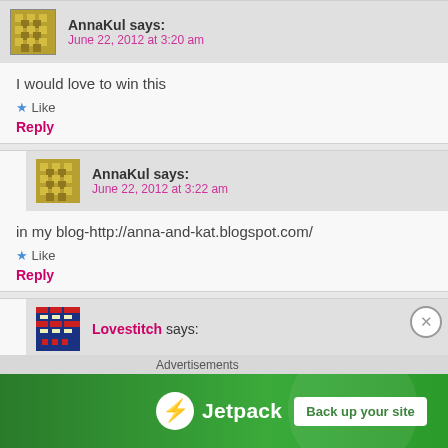AnnaKul says: June 22, 2012 at 3:20 am
I would love to win this
★ Like
Reply
AnnaKul says: June 22, 2012 at 3:22 am
in my blog-http://anna-and-kat.blogspot.com/
★ Like
Reply
Lovestitch says:
[Figure (screenshot): Jetpack advertisement banner: green background with Jetpack logo and 'Back up your site' button]
Advertisements